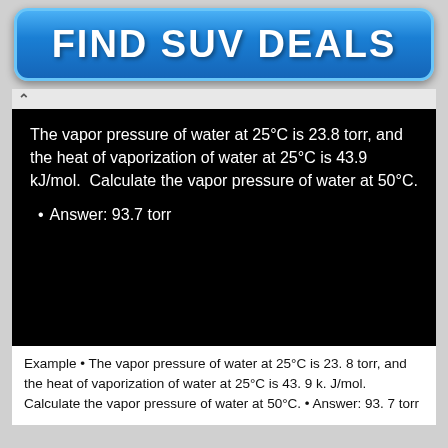[Figure (other): Blue gradient advertisement banner button with bold white text 'FIND SUV DEALS']
[Figure (screenshot): Black background panel showing chemistry problem text in white: 'The vapor pressure of water at 25°C is 23.8 torr, and the heat of vaporization of water at 25°C is 43.9 kJ/mol. Calculate the vapor pressure of water at 50°C.' with bullet point 'Answer: 93.7 torr']
Example • The vapor pressure of water at 25°C is 23. 8 torr, and the heat of vaporization of water at 25°C is 43. 9 k. J/mol. Calculate the vapor pressure of water at 50°C. • Answer: 93. 7 torr